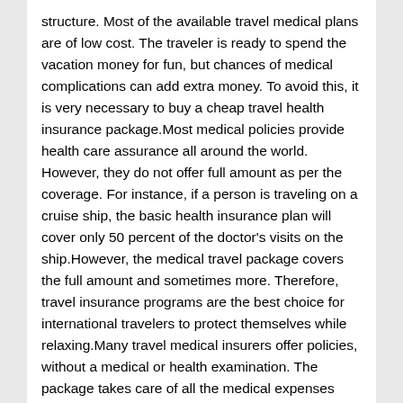structure. Most of the available travel medical plans are of low cost. The traveler is ready to spend the vacation money for fun, but chances of medical complications can add extra money. To avoid this, it is very necessary to buy a cheap travel health insurance package.Most medical policies provide health care assurance all around the world. However, they do not offer full amount as per the coverage. For instance, if a person is traveling on a cruise ship, the basic health insurance plan will cover only 50 percent of the doctor's visits on the ship.However, the medical travel package covers the full amount and sometimes more. Therefore, travel insurance programs are the best choice for international travelers to protect themselves while relaxing.Many travel medical insurers offer policies, without a medical or health examination. The package takes care of all the medical expenses associated with any medical crisis, while traveling.Final Advice:Travel medical insurance provides peace of mind, during your entire trip. To make the vacation more enjoyable without any hassles, it is very important to have travel medical insurance. For those travelers, who have